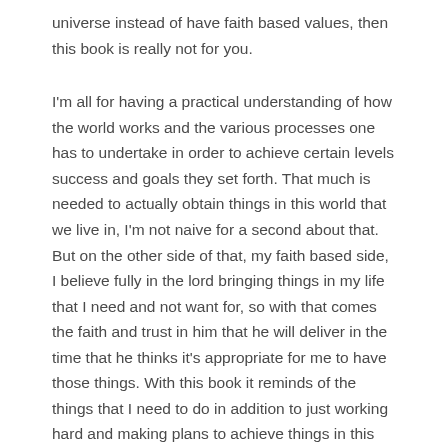universe instead of have faith based values, then this book is really not for you.
I'm all for having a practical understanding of how the world works and the various processes one has to undertake in order to achieve certain levels success and goals they set forth. That much is needed to actually obtain things in this world that we live in, I'm not naive for a second about that. But on the other side of that, my faith based side, I believe fully in the lord bringing things in my life that I need and not want for, so with that comes the faith and trust in him that he will deliver in the time that he thinks it's appropriate for me to have those things. With this book it reminds of the things that I need to do in addition to just working hard and making plans to achieve things in this life, to me the point of this book was to play up the spiritual aspect of working hard for things and that